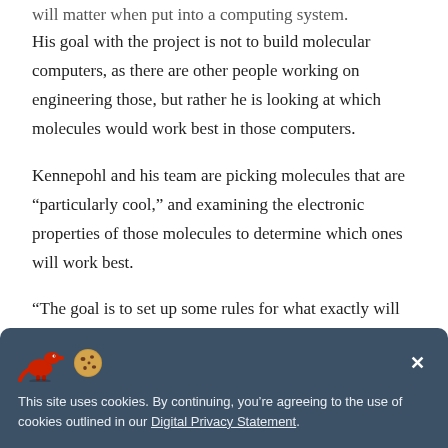will matter when put into a computing system.
His goal with the project is not to build molecular computers, as there are other people working on engineering those, but rather he is looking at which molecules would work best in those computers.
Kennepohl and his team are picking molecules that are “particularly cool,” and examining the electronic properties of those molecules to determine which ones will work best.
“The goal is to set up some rules for what exactly will work and why,” says Kennepohl.
This site uses cookies. By continuing, you’re agreeing to the use of cookies outlined in our Digital Privacy Statement.